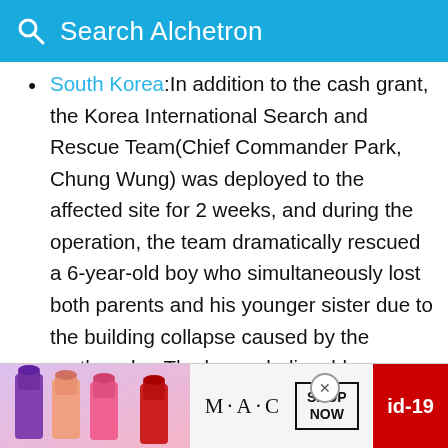Search Alchetron
South Korea: In addition to the cash grant, the Korea International Search and Rescue Team(Chief Commander Park, Chung Wung) was deployed to the affected site for 2 weeks, and during the operation, the team dramatically rescued a 6-year-old boy who simultaneously lost both parents and his younger sister due to the building collapse caused by the earthquake. The boy unbelievably sustained his life for 84 hours without external assistance such as water and food.
Vatican City: Pope John-Paul II expressed his concern in his Angelus of September 26, remarking that "at the same concern the old, the concern, turned..."
[Figure (other): MAC cosmetics advertisement banner with lipsticks, MAC logo, SHOP NOW box, and id-19 badge]